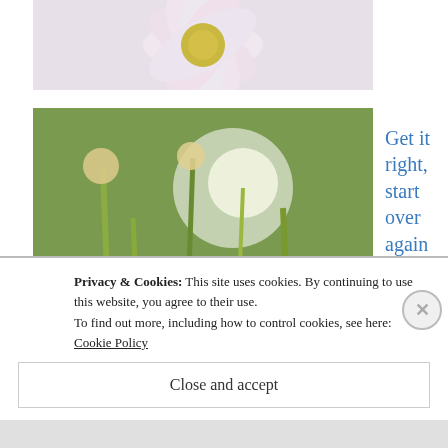[Figure (photo): Partial view of a daisy flower, cropped at the bottom]
[Figure (photo): Meadow with wildflowers including clover and dandelion seed heads with green grasses]
Get it right, start over again
[Figure (photo): Person wearing blue/white patterned leggings, partial view from waist down]
How to earn as Zazzle affiliate. Many thanks for your sales!
Privacy & Cookies: This site uses cookies. By continuing to use this website, you agree to their use.
To find out more, including how to control cookies, see here: Cookie Policy
Close and accept